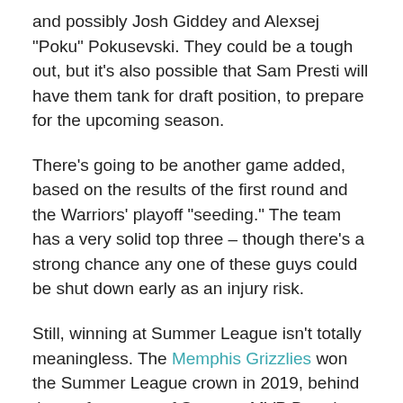and possibly Josh Giddey and Alexsej "Poku" Pokusevski. They could be a tough out, but it's also possible that Sam Presti will have them tank for draft position, to prepare for the upcoming season.
There's going to be another game added, based on the results of the first round and the Warriors' playoff "seeding." The team has a very solid top three – though there's a strong chance any one of these guys could be shut down early as an injury risk.
Still, winning at Summer League isn't totally meaningless. The Memphis Grizzlies won the Summer League crown in 2019, behind the performance of Summer MVP Brandon Clarke. Ja Morant was out with minor knee surgery, which was probably blamed on Jordan Poole. The Warriors won their own summer title in 2013 behind the play of Summer MVP (and future 2017 NBA champion).